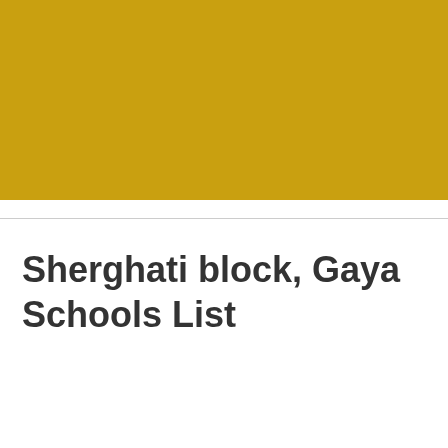[Figure (other): Solid golden/amber colored rectangular banner filling the upper half of the page]
Sherghati block, Gaya Schools List